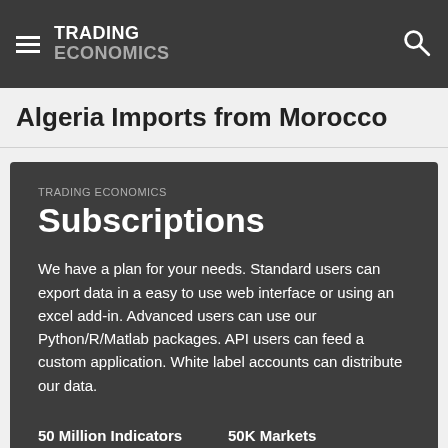TRADING ECONOMICS
Algeria Imports from Morocco
TRADING ECONOMICS
Subscriptions
We have a plan for your needs. Standard users can export data in a easy to use web interface or using an excel add-in. Advanced users can use our Python/R/Matlab packages. API users can feed a custom application. White label accounts can distribute our data.
50 Million Indicators
50K Markets
Economic Calendar
Live Quotes
News Stream
Currencies
Earnings Releases
Stocks
Credit Ratings
Commodities